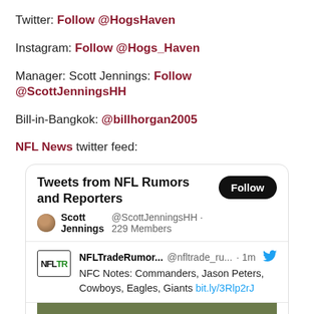Twitter: Follow @HogsHaven
Instagram: Follow @Hogs_Haven
Manager: Scott Jennings: Follow @ScottJenningsHH
Bill-in-Bangkok: @billhorgan2005
NFL News twitter feed:
[Figure (screenshot): Twitter list widget showing 'Tweets from NFL Rumors and Reporters' with Follow button, Scott Jennings @ScottJenningsHH 229 Members, and a tweet from NFLTradeRumor... @nfltrade_ru... 1m with text 'NFC Notes: Commanders, Jason Peters, Cowboys, Eagles, Giants bit.ly/3Rlp2rJ' followed by a partial green image.]